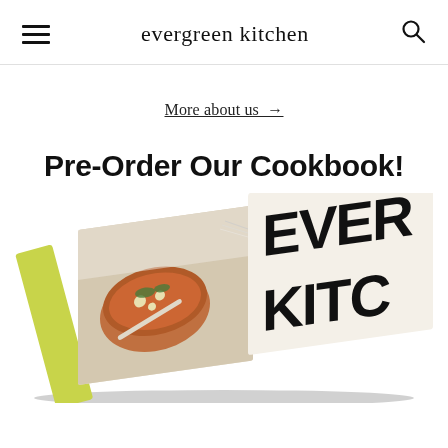evergreen kitchen
More about us →
Pre-Order Our Cookbook!
[Figure (photo): A cookbook titled 'Evergreen Kitchen' shown open, with the spine labeled 'EVERGRE' on the left and the cover showing 'EVER KITC' in large black letters on cream background on the right. The open page shows a food photography image of a bowl of stew or soup with vegetables and a spoon.]